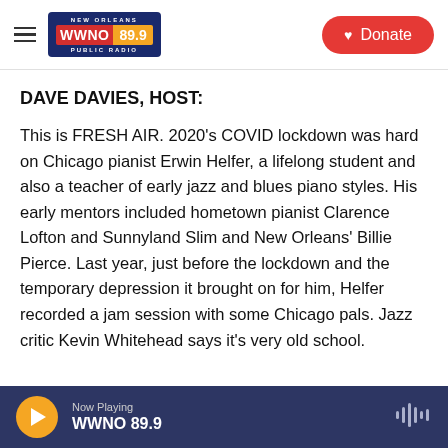NEW ORLEANS WWNO 89.9 PUBLIC RADIO | Donate
DAVE DAVIES, HOST:
This is FRESH AIR. 2020's COVID lockdown was hard on Chicago pianist Erwin Helfer, a lifelong student and also a teacher of early jazz and blues piano styles. His early mentors included hometown pianist Clarence Lofton and Sunnyland Slim and New Orleans' Billie Pierce. Last year, just before the lockdown and the temporary depression it brought on for him, Helfer recorded a jam session with some Chicago pals. Jazz critic Kevin Whitehead says it's very old school.
Now Playing WWNO 89.9